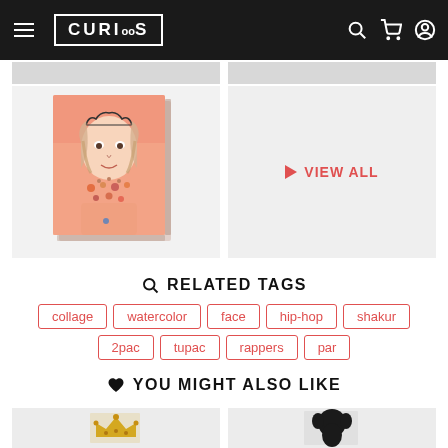CURIOOS
[Figure (illustration): Canvas art product showing a girl with a crown/tiara and colorful mixed-media collage painting on pink/orange background]
VIEW ALL
RELATED TAGS
collage
watercolor
face
hip-hop
shakur
2pac
tupac
rappers
par
YOU MIGHT ALSO LIKE
[Figure (illustration): Canvas art product showing a yellow/golden crown illustration]
[Figure (illustration): Canvas art product showing a dark silhouette of a person with afro hair]